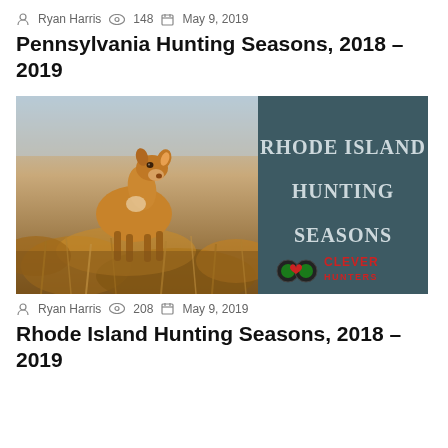Ryan Harris  148  May 9, 2019
Pennsylvania Hunting Seasons, 2018 – 2019
[Figure (photo): Thumbnail image showing a deer in tall grass on the left half, and a dark teal panel on the right half with text 'RHODE ISLAND HUNTING SEASONS' and a Clever Hunters logo at bottom right.]
Ryan Harris  208  May 9, 2019
Rhode Island Hunting Seasons, 2018 – 2019